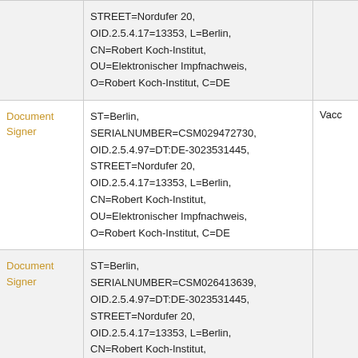| Role | Certificate Details | Type |
| --- | --- | --- |
|  | STREET=Nordufer 20,
OID.2.5.4.17=13353, L=Berlin,
CN=Robert Koch-Institut,
OU=Elektronischer Impfnachweis,
O=Robert Koch-Institut, C=DE |  |
| Document Signer | ST=Berlin,
SERIALNUMBER=CSM029472730,
OID.2.5.4.97=DT:DE-3023531445,
STREET=Nordufer 20,
OID.2.5.4.17=13353, L=Berlin,
CN=Robert Koch-Institut,
OU=Elektronischer Impfnachweis,
O=Robert Koch-Institut, C=DE | Vacc |
| Document Signer | ST=Berlin,
SERIALNUMBER=CSM026413639,
OID.2.5.4.97=DT:DE-3023531445,
STREET=Nordufer 20,
OID.2.5.4.17=13353, L=Berlin,
CN=Robert Koch-Institut,
OU=Elektronischer Impfnachweis,
O=Robert Koch-Institut, C=DE |  |